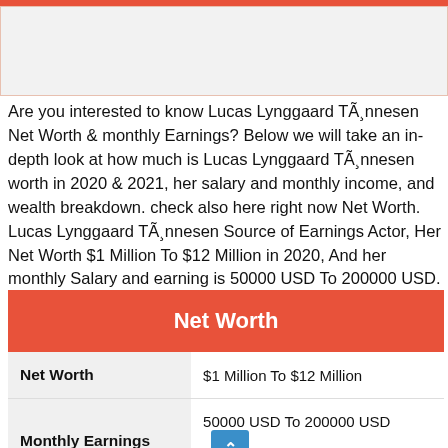[Figure (photo): Broken image placeholder in a light gray box with orange border]
Are you interested to know Lucas Lynggaard TÃ¸nnesen Net Worth & monthly Earnings? Below we will take an in-depth look at how much is Lucas Lynggaard TÃ¸nnesen worth in 2020 & 2021, her salary and monthly income, and wealth breakdown. check also here right now Net Worth. Lucas Lynggaard TÃ¸nnesen Source of Earnings Actor, Her Net Worth $1 Million To $12 Million in 2020, And her monthly Salary and earning is 50000 USD To 200000 USD.
|  | Net Worth |
| --- | --- |
| Net Worth | $1 Million To $12 Million |
| Monthly Earnings | 50000 USD To 200000 USD |
| Source of Earnings | Actor |